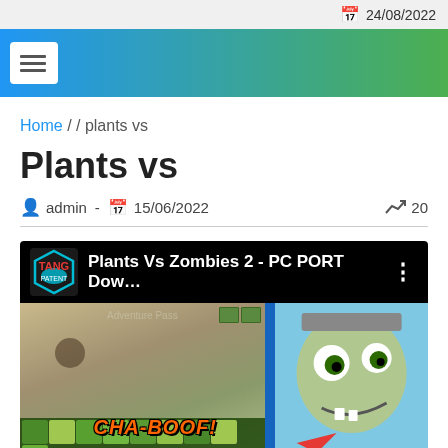24/08/2022
[Figure (screenshot): Navigation banner with hamburger menu button on blue-to-green gradient background]
Home / / plants vs
Plants vs
admin - 15/06/2022   20
[Figure (screenshot): YouTube video thumbnail for 'Plants Vs Zombies 2 - PC PORT Dow...' with channel logo, black title bar, game screenshot showing plants grid and zombie character]